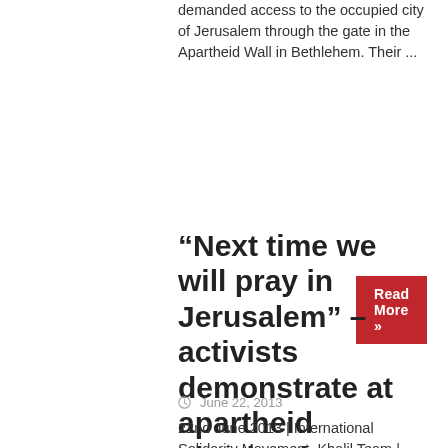demanded access to the occupied city of Jerusalem through the gate in the Apartheid Wall in Bethlehem. Their ...
Read More »
“Next time we will pray in Jerusalem” – activists demonstrate at apartheid checkpoint blocking access to occupied Jerusalem
June 22, 2013
22nd June 2013 | International Solidarity Movement, Khalil Team | Bethlehem, Occupied Palestine In the morning of June 22nd, Palestinian, international and Israeli activists marched to the